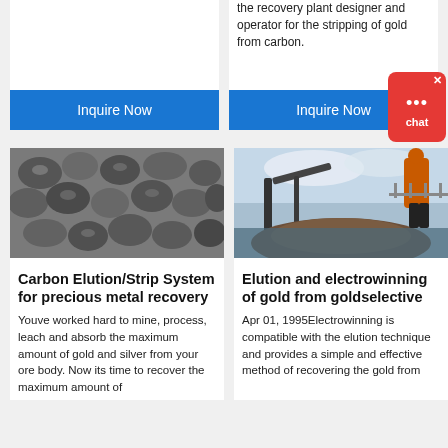the recovery plant designer and operator for the stripping of gold from carbon.
Inquire Now
Inquire Now
[Figure (photo): Pile of dark grey rocks/carbon material for gold recovery]
[Figure (photo): Mining worker operating heavy equipment at a gold recovery site outdoors]
Carbon Elution/Strip System for precious metal recovery
Elution and electrowinning of gold from goldselective
Youve worked hard to mine, process, leach and absorb the maximum amount of gold and silver from your ore body. Now its time to recover the maximum amount of [...]
Apr 01, 1995Electrowinning is compatible with the elution technique and provides a simple and effective method of recovering the gold from [...]